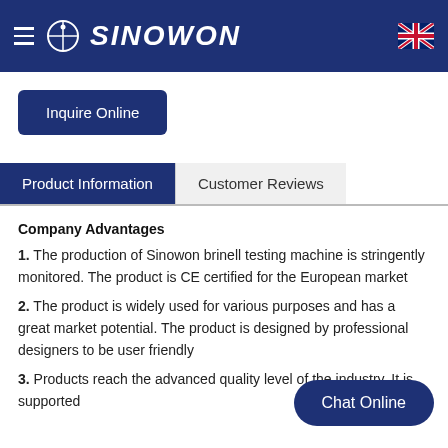SINOWON
Inquire Online
Product Information | Customer Reviews
Company Advantages
1. The production of Sinowon brinell testing machine is stringently monitored. The product is CE certified for the European market
2. The product is widely used for various purposes and has a great market potential. The product is designed by professional designers to be user friendly
3. Products reach the advanced quality level of the industry. It is supported
Chat Online